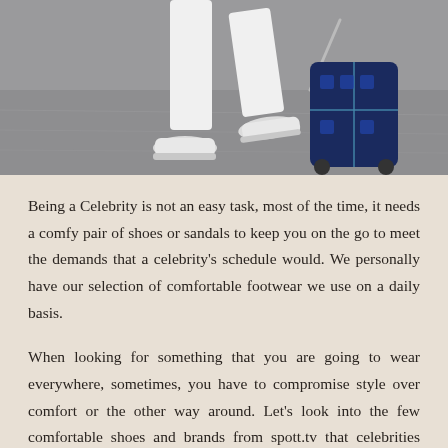[Figure (photo): Photo of a person in white jeans pulling a dark blue suitcase, only the lower half of the body visible, wearing white sneakers, walking on a gray pavement.]
Being a Celebrity is not an easy task, most of the time, it needs a comfy pair of shoes or sandals to keep you on the go to meet the demands that a celebrity's schedule would. We personally have our selection of comfortable footwear we use on a daily basis.
When looking for something that you are going to wear everywhere, sometimes, you have to compromise style over comfort or the other way around. Let's look into the few comfortable shoes and brands from spott.tv that celebrities love to wear.